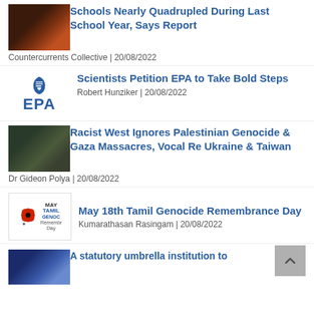[Figure (photo): Dark photo of people with candles or lights]
Schools Nearly Quadrupled During Last School Year, Says Report
Countercurrents Collective | 20/08/2022
[Figure (logo): EPA logo]
Scientists Petition EPA to Take Bold Steps
Robert Hunziker | 20/08/2022
[Figure (photo): Photo of a soldier or person in military gear]
Racist West Ignores Palestinian Genocide & Gaza Massacres, Vocal Re Ukraine & Taiwan
Dr Gideon Polya | 20/08/2022
[Figure (logo): Tamil Genocide Remembrance Day logo with poppy]
May 18th Tamil Genocide Remembrance Day
Kumarathasan Rasingam | 20/08/2022
[Figure (photo): Photo with Enforcement Directorate sign]
A statutory umbrella institution to